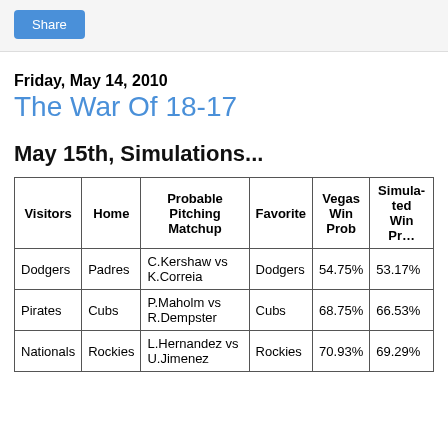Share
Friday, May 14, 2010
The War Of 18-17
May 15th, Simulations...
| Visitors | Home | Probable Pitching Matchup | Favorite | Vegas Win Prob | Simulated Win Prob |
| --- | --- | --- | --- | --- | --- |
| Dodgers | Padres | C.Kershaw vs K.Correia | Dodgers | 54.75% | 53.17% |
| Pirates | Cubs | P.Maholm vs R.Dempster | Cubs | 68.75% | 66.53% |
| Nationals | Rockies | L.Hernandez vs U.Jimenez | Rockies | 70.93% | 69.29% |